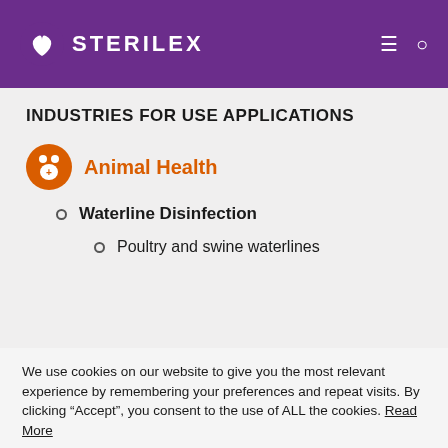STERILEX
INDUSTRIES FOR USE APPLICATIONS
Animal Health
Waterline Disinfection
Poultry and swine waterlines
We use cookies on our website to give you the most relevant experience by remembering your preferences and repeat visits. By clicking “Accept”, you consent to the use of ALL the cookies. Read More
We do not sell personal information.